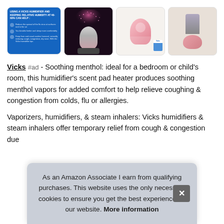[Figure (photo): Row of four product images: (1) blue infographic about Vicks humidifier and relative humidity, (2) humidifier with pink light projection on dark background, (3) pink humidifier with product box on light background, (4) person holding pink humidifier bowl]
Vicks #ad - Soothing menthol: ideal for a bedroom or child's room, this humidifier's scent pad heater produces soothing menthol vapors for added comfort to help relieve coughing & congestion from colds, flu or allergies.
Vaporizers, humidifiers, & steam inhalers: Vicks humidifiers & steam inhalers offer temporary relief from cough & congestion due to...
As an Amazon Associate I earn from qualifying purchases. This website uses the only necessary cookies to ensure you get the best experience on our website. More information